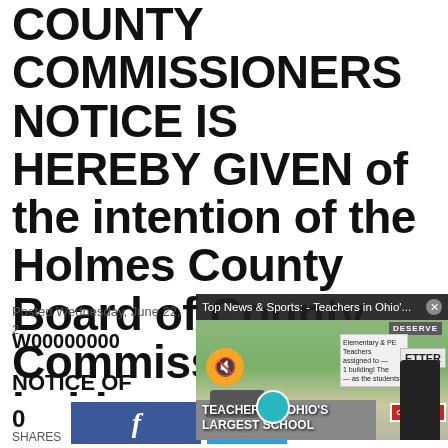COUNTY COMMISSIONERS NOTICE IS HEREBY GIVEN of the intention of the Holmes County Board of County Commissioners to hold a ...
Posted Wednesday, June 22, 2...
W00000000
NOTICE OF PUBLI...
[Figure (screenshot): Video popup overlay showing 'Top News & Sports: - Teachers in Ohio'...' with a muted video of teachers on strike carrying signs including 'ON STRIKE', with caption 'TEACHERS IN OHIO'S LARGEST SCHOOL']
0 SHARES